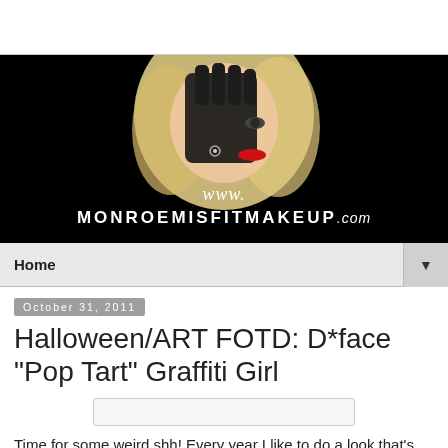[Figure (photo): Blog header banner showing a glamorous woman with blonde wavy hair and red lips, holding a black gloved hand over half her face. Text reads: www.MONROEMISFITMAKEUP.com on a black background.]
Home ▼
October 31, 2011
Halloween/ART FOTD: D*face "Pop Tart" Graffiti Girl
Time for some weird shh! Every year I like to do a look that's just "me", something that allows me to unleash the creativity